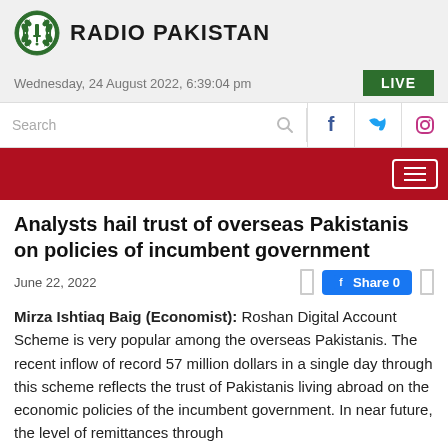[Figure (logo): Radio Pakistan logo with green wreath emblem and bold text]
Wednesday, 24 August 2022, 6:39:04 pm
Search
Analysts hail trust of overseas Pakistanis on policies of incumbent government
June 22, 2022
Mirza Ishtiaq Baig (Economist): Roshan Digital Account Scheme is very popular among the overseas Pakistanis. The recent inflow of record 57 million dollars in a single day through this scheme reflects the trust of Pakistanis living abroad on the economic policies of the incumbent government. In near future, the level of remittances through